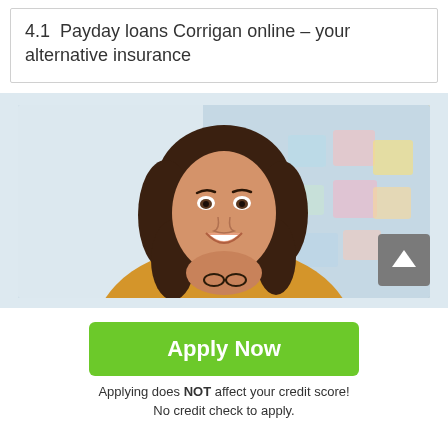4.1  Payday loans Corrigan online – your alternative insurance
[Figure (photo): Smiling young woman with brown curly hair wearing a yellow top, resting her chin on her hands holding glasses, with colorful sticky notes blurred in the background]
Apply Now
Applying does NOT affect your credit score!
No credit check to apply.